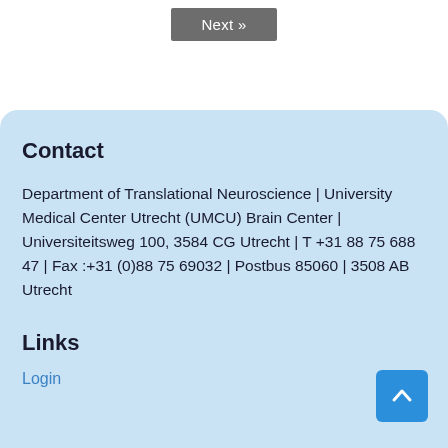[Figure (other): Gray 'Next »' navigation button at top center of page]
Contact
Department of Translational Neuroscience | University Medical Center Utrecht (UMCU) Brain Center | Universiteitsweg 100, 3584 CG Utrecht | T +31 88 75 688 47 | Fax :+31 (0)88 75 69032 | Postbus 85060 | 3508 AB Utrecht
Links
Login